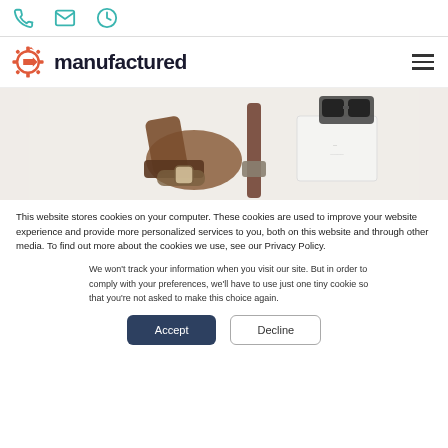Icon bar with phone, email, clock icons
manufactured
[Figure (photo): Flatlay of men's accessories including brown leather boot, brown belt, white t-shirt, watch, and sunglasses on white background]
This website stores cookies on your computer. These cookies are used to improve your website experience and provide more personalized services to you, both on this website and through other media. To find out more about the cookies we use, see our Privacy Policy.
We won't track your information when you visit our site. But in order to comply with your preferences, we'll have to use just one tiny cookie so that you're not asked to make this choice again.